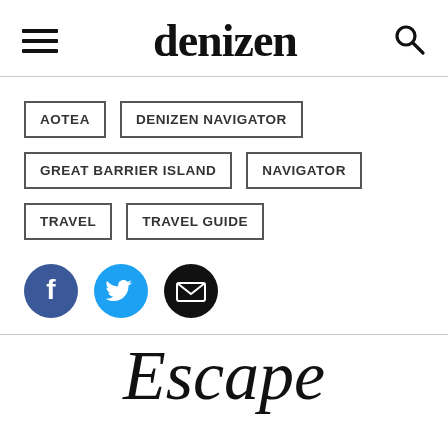denizen
AOTEA
DENIZEN NAVIGATOR
GREAT BARRIER ISLAND
NAVIGATOR
TRAVEL
TRAVEL GUIDE
[Figure (infographic): Three social media icon buttons: Facebook (blue circle with white F), Twitter (teal circle with white bird), Email (black circle with white envelope)]
Escape